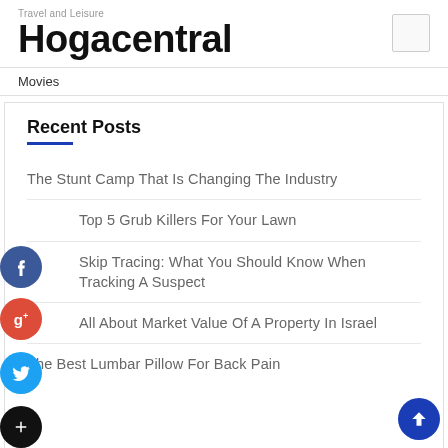Travel and Leisure
Hogacentral
Movies
Recent Posts
The Stunt Camp That Is Changing The Industry
Top 5 Grub Killers For Your Lawn
Skip Tracing: What You Should Know When Tracking A Suspect
All About Market Value Of A Property In Israel
The Best Lumbar Pillow For Back Pain